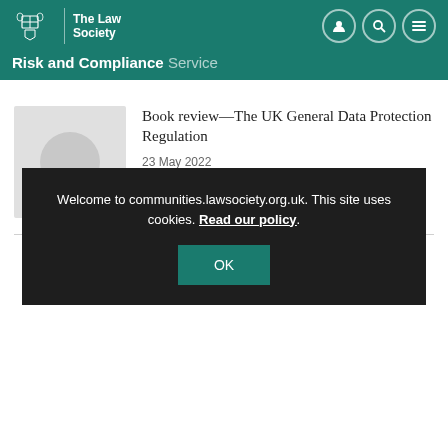The Law Society — Risk and Compliance Service
[Figure (illustration): Placeholder thumbnail image with grey background and circle]
Book review—The UK General Data Protection Regulation
23 May 2022
Load more articles
Welcome to communities.lawsociety.org.uk. This site uses cookies. Read our policy.
OK